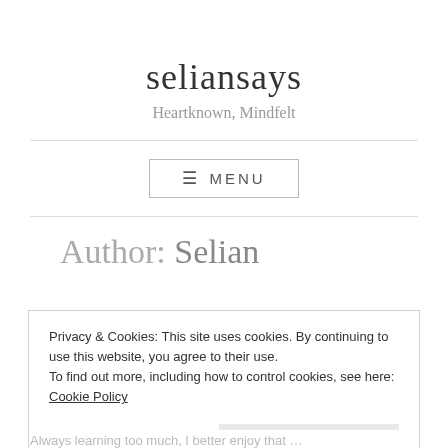seliansays
Heartknown, Mindfelt
MENU
Author: Selian
Privacy & Cookies: This site uses cookies. By continuing to use this website, you agree to their use.
To find out more, including how to control cookies, see here: Cookie Policy
Close and accept
Always learning too much, I better enjoy that …